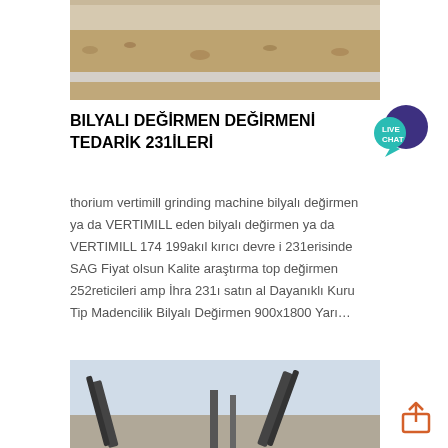[Figure (photo): Top partial photo of a dirt/rocky outdoor area with a concrete edge, earth tones]
BILYALI DEĞİRMEN DEĞİRMENİ TEDARİK 231İLERİ
[Figure (other): Live Chat speech bubble icon in teal/purple]
thorium vertimill grinding machine bilyalı değirmen ya da VERTIMILL eden bilyalı değirmen ya da VERTIMILL 174 199akıl kırıcı devre i 231erisinde SAG Fiyat olsun Kalite araştırma top değirmen 252reticileri amp İhra 231ı satın al Dayanıklı Kuru Tip Madencilik Bilyalı Değirmen 900x1800 Yarı…
[Figure (photo): Bottom partial photo of industrial mining/conveyor equipment against a light sky]
[Figure (other): Share/export icon (box with upward arrow)]